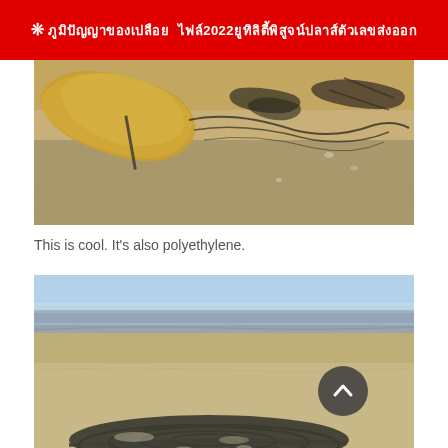❊ ภูมิปัญญาของเปลือย ไฟล์2022ยูทิลิตี้พิสูจน์ปลาส์ตัวเลขส่งออก
[Figure (photo): Close-up photo of what appears to be a piece of dried, yellowish kelp or seaweed on dark sandy beach, with dark debris and driftwood sticks scattered around.]
This is cool. It's also polyethylene.
[Figure (photo): Photo of a beach scene showing the ocean horizon in the background under blue sky, with sand in the foreground and a dark metal basket-like object (possibly a crab trap or beach basket) in the lower portion of the frame, partially buried in sand.]